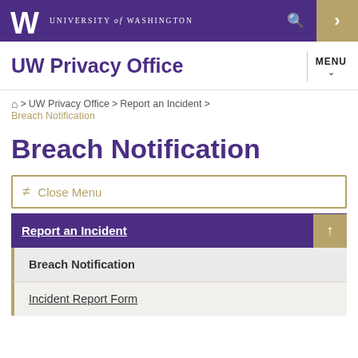UNIVERSITY of WASHINGTON
UW Privacy Office
Home > UW Privacy Office > Report an Incident > Breach Notification
Breach Notification
Close Menu
Report an Incident
Breach Notification
Incident Report Form